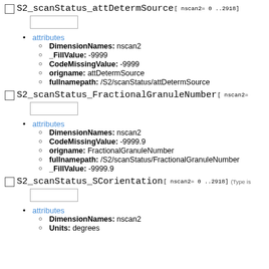S2_scanStatus_attDetermSource[ nscan2= 0 ..2918]
attributes
DimensionNames: nscan2
_FillValue: -9999
CodeMissingValue: -9999
origname: attDetermSource
fullnamepath: /S2/scanStatus/attDetermSource
S2_scanStatus_FractionalGranuleNumber[ nscan2=
attributes
DimensionNames: nscan2
CodeMissingValue: -9999.9
origname: FractionalGranuleNumber
fullnamepath: /S2/scanStatus/FractionalGranuleNumber
_FillValue: -9999.9
S2_scanStatus_SCorientation[ nscan2= 0 ..2918] (Type is
attributes
DimensionNames: nscan2
Units: degrees